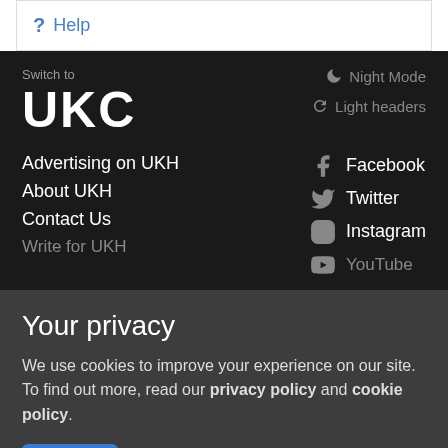? Help
Switch to
UKC
Night Mode
Light headers
Advertising on UKH
About UKH
Contact Us
Write for UKH
Facebook
Twitter
Instagram
YouTube
Your privacy
We use cookies to improve your experience on our site. To find out more, read our privacy policy and cookie policy.
OK  More information